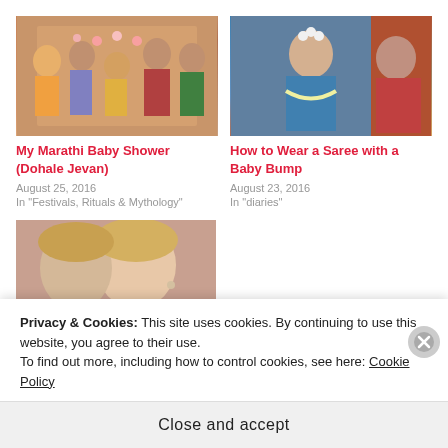[Figure (photo): Group photo at a Marathi baby shower (Dohale Jevan) with women in sarees around a decorated table]
My Marathi Baby Shower (Dohale Jevan)
August 25, 2016
In "Festivals, Rituals & Mythology"
[Figure (photo): Woman in blue saree and flower garland at a ceremony with an elderly woman in red saree]
How to Wear a Saree with a Baby Bump
August 23, 2016
In "diaries"
[Figure (photo): Close-up of a blonde woman smiling, wearing pink top]
B...
H...
Privacy & Cookies: This site uses cookies. By continuing to use this website, you agree to their use.
To find out more, including how to control cookies, see here: Cookie Policy
Close and accept